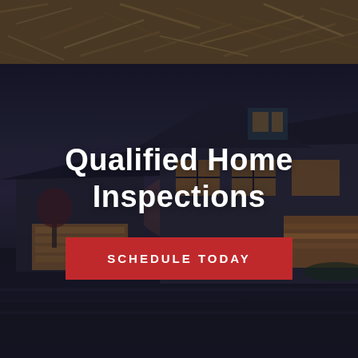[Figure (photo): Top strip showing dried leaves/mulch texture background]
[Figure (photo): House at dusk with dark overlay — a two-story craftsman-style home with lit garage and windows, wet driveway, dark sky]
Qualified Home Inspections
SCHEDULE TODAY